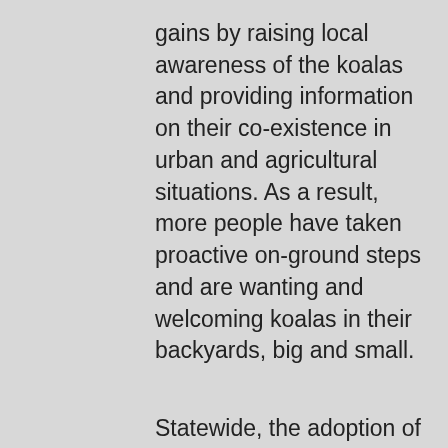gains by raising local awareness of the koalas and providing information on their co-existence in urban and agricultural situations. As a result, more people have taken proactive on-ground steps and are wanting and welcoming koalas in their backyards, big and small.
Statewide, the adoption of the koala in 1971 as Queensland’s faunal emblem has afforded the iconic marsupial little protection. Forty-five years later in the Pittsworth district, koalas are hanging on by their toenails, battling tree clearing, drought, predation, road fatalities and disturbance.